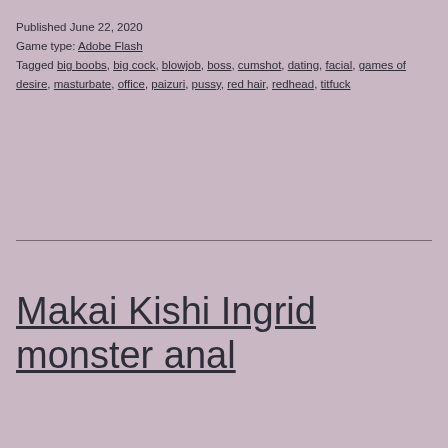Published June 22, 2020
Game type: Adobe Flash
Tagged big boobs, big cock, blowjob, boss, cumshot, dating, facial, games of desire, masturbate, office, paizuri, pussy, red hair, redhead, titfuck
Makai Kishi Ingrid monster anal